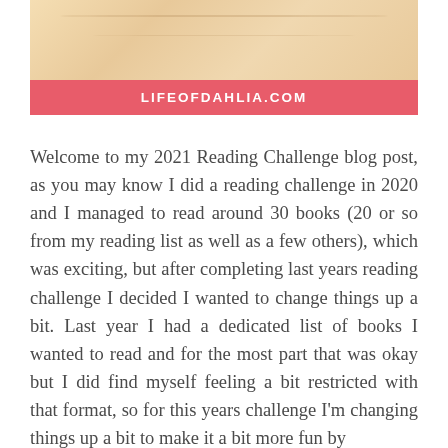[Figure (illustration): Decorative wood-grain textured banner image with warm beige/tan tones]
LIFEOFDAHLIA.COM
Welcome to my 2021 Reading Challenge blog post, as you may know I did a reading challenge in 2020 and I managed to read around 30 books (20 or so from my reading list as well as a few others), which was exciting, but after completing last years reading challenge I decided I wanted to change things up a bit. Last year I had a dedicated list of books I wanted to read and for the most part that was okay but I did find myself feeling a bit restricted with that format, so for this years challenge I'm changing things up a bit to make it a bit more fun by